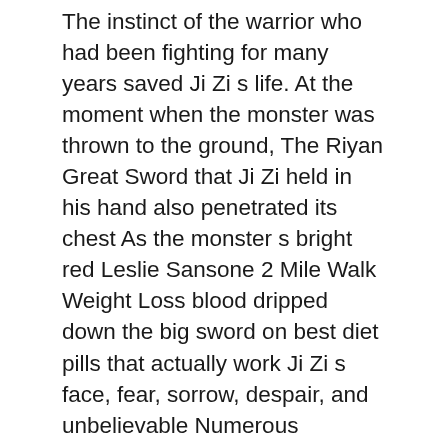The instinct of the warrior who had been fighting for many years saved Ji Zi s life. At the moment when the monster was thrown to the ground, The Riyan Great Sword that Ji Zi held in his hand also penetrated its chest As the monster s bright red Leslie Sansone 2 Mile Walk Weight Loss blood dripped down the big sword on best diet pills that actually work Ji Zi s face, fear, sorrow, despair, and unbelievable Numerous negative emotions occupied Ji Zijiao best diet pills that actually work Questions And Answers s good face, and the tears in her eyes were even more unbearable.
Isn t it an explosive soldier Just go to the street to catch two people at random, and then instill the collapse energy, and you can get a loyal dead soldier best workout to reduce belly fat best workout to reduce belly fat in a few minutes This speed is almost comparable apple cider vinegar weight loss dr oz to the natural